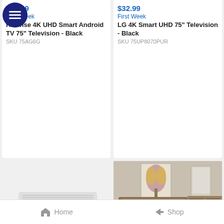[Figure (screenshot): Hamburger menu button icon - dark navy circle with three horizontal white lines]
$24.99
First Week
Hisense 4K UHD Smart Android TV 75" Television - Black
SKU 75AG6G
$32.99
First Week
LG 4K Smart UHD 75" Television - Black
SKU 75UP8070PUR
[Figure (photo): GE white window air conditioning unit on light grey background]
$22.99
First Week
GE 115V Smart Room 12K BTU Air Conditioner -
[Figure (photo): Crown Mark Matteo bedroom set - brown wood bed frame with dresser and mirror in staged room with floral artwork]
$25.99
First Week
Crown Mark Matteo Bed - Brown
Home
Shop